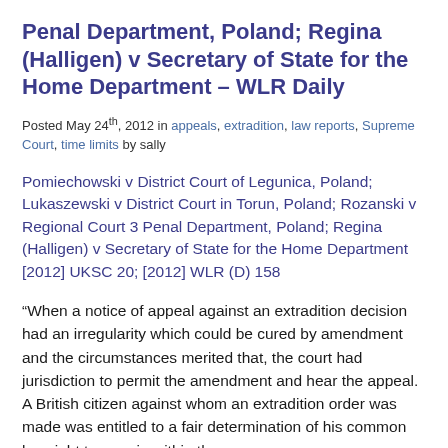Penal Department, Poland; Regina (Halligen) v Secretary of State for the Home Department – WLR Daily
Posted May 24th, 2012 in appeals, extradition, law reports, Supreme Court, time limits by sally
Pomiechowski v District Court of Legunica, Poland; Lukaszewski v District Court in Torun, Poland; Rozanski v Regional Court 3 Penal Department, Poland; Regina (Halligen) v Secretary of State for the Home Department [2012] UKSC 20; [2012] WLR (D) 158
“When a notice of appeal against an extradition decision had an irregularity which could be cured by amendment and the circumstances merited that, the court had jurisdiction to permit the amendment and hear the appeal. A British citizen against whom an extradition order was made was entitled to a fair determination of his common law right to remain within the